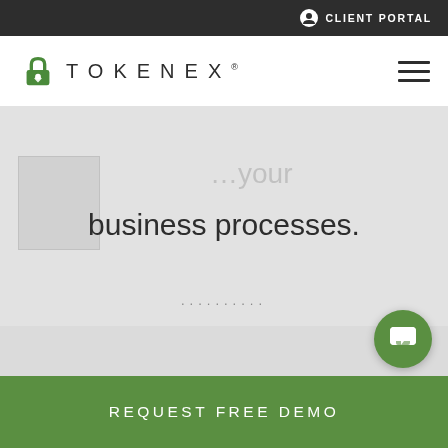CLIENT PORTAL
[Figure (logo): TokenEx logo — green padlock icon with TOKENEX text in uppercase spaced letters]
business processes.
..........
REQUEST FREE DEMO